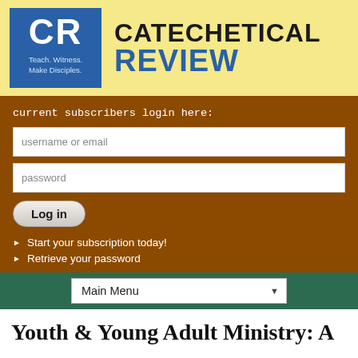[Figure (logo): Catechetical Review logo with CR monogram on blue background and publication name]
current subscribers login here:
username or email
password
Log in
Start your subscription today!
Retrieve your password
Main Menu
Youth & Young Adult Ministry: A